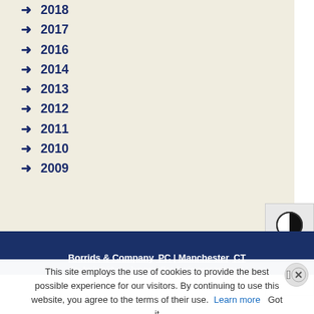➜ 2018
➜ 2017
➜ 2016
➜ 2014
➜ 2013
➜ 2012
➜ 2011
➜ 2010
➜ 2009
Borrids & Company, PC | Manchester, CT
This site employs the use of cookies to provide the best possible experience for our visitors. By continuing to use this website, you agree to the terms of their use. Learn more   Got it